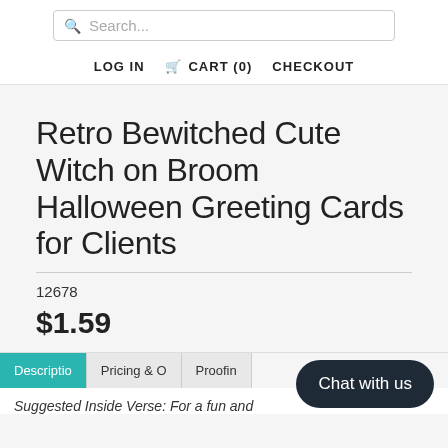Search... | LOG IN | CART (0) | CHECKOUT
Retro Bewitched Cute Witch on Broom Halloween Greeting Cards for Clients
12678
$1.59
Description | Pricing & O | Proofing
Suggested Inside Verse: For a fun and